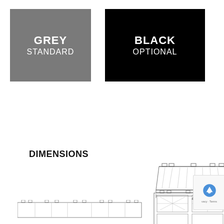[Figure (infographic): Two color option swatches: Grey (Standard) on the left with a grey background, and Black (Optional) on the right with a black background, both with white text labels.]
DIMENSIONS
[Figure (engineering-diagram): Technical engineering dimension drawing of a lighting fixture, front/side view showing width dimension line at bottom.]
[Figure (engineering-diagram): Technical engineering dimension drawing of a lighting fixture, top view showing lens array and bottom connector detail.]
[Figure (engineering-diagram): Technical engineering dimension drawing of a lighting fixture, another elevation view partially visible at bottom of page.]